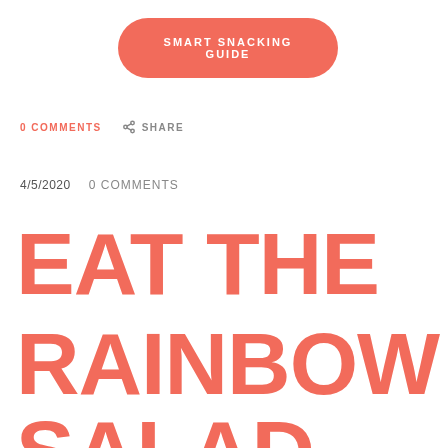[Figure (other): Red/coral rounded rectangle button with white bold uppercase text 'SMART SNACKING GUIDE']
0 COMMENTS   SHARE
4/5/2020   0 COMMENTS
EAT THE RAINBOW SALAD